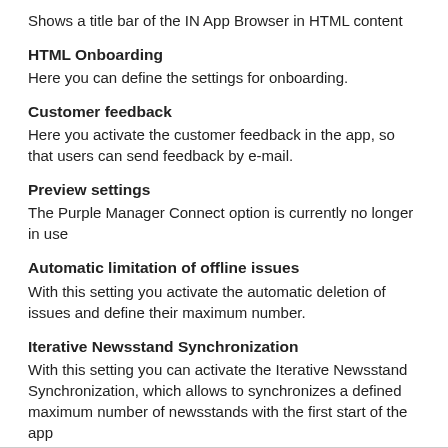Shows a title bar of the IN App Browser in HTML content
HTML Onboarding
Here you can define the settings for onboarding.
Customer feedback
Here you activate the customer feedback in the app, so that users can send feedback by e-mail.
Preview settings
The Purple Manager Connect option is currently no longer in use
Automatic limitation of offline issues
With this setting you activate the automatic deletion of issues and define their maximum number.
Iterative Newsstand Synchronization
With this setting you can activate the Iterative Newsstand Synchronization, which allows to synchronizes a defined maximum number of newsstands with the first start of the app